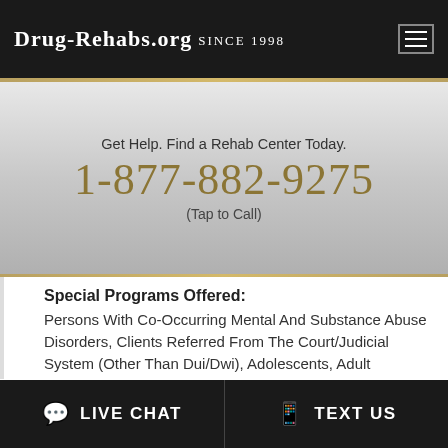Drug-Rehabs.org Since 1998
Get Help. Find a Rehab Center Today.
1-877-882-9275
(Tap to Call)
Special Programs Offered:
Persons With Co-Occurring Mental And Substance Abuse Disorders, Clients Referred From The Court/Judicial System (Other Than Dui/Dwi), Adolescents, Adult Women, Adult Men, Transitional Age Young Adults, Aftercare/continuing care, Comprehensive substance abuse assessment, Drug or alcohol urine screening, Discharge Planning, Family counseling offered, Housing services, Individual counseling offered, Interim services for clients, The Joint Commission, Mental health services, Substance abuse education, Screening for
LIVE CHAT    TEXT US